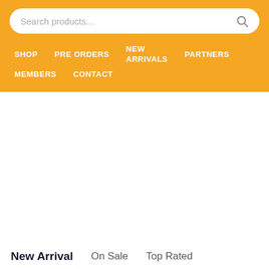Search products...
SHOP
PRE ORDERS
NEW ARRIVALS
PARTNERS
MEMBERS
CONTACT
New Arrival
On Sale
Top Rated